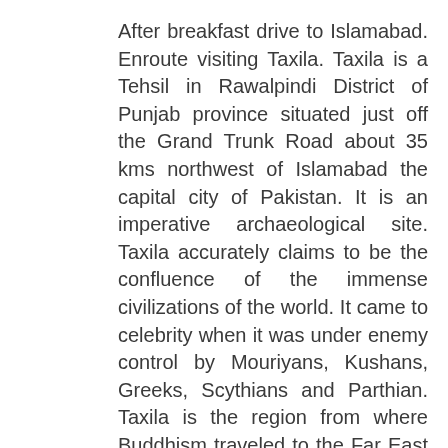After breakfast drive to Islamabad. Enroute visiting Taxila. Taxila is a Tehsil in Rawalpindi District of Punjab province situated just off the Grand Trunk Road about 35 kms northwest of Islamabad the capital city of Pakistan. It is an imperative archaeological site. Taxila accurately claims to be the confluence of the immense civilizations of the world. It came to celebrity when it was under enemy control by Mouriyans, Kushans, Greeks, Scythians and Parthian. Taxila is the region from where Buddhism traveled to the Far East and Persians, Greeks and Hindus